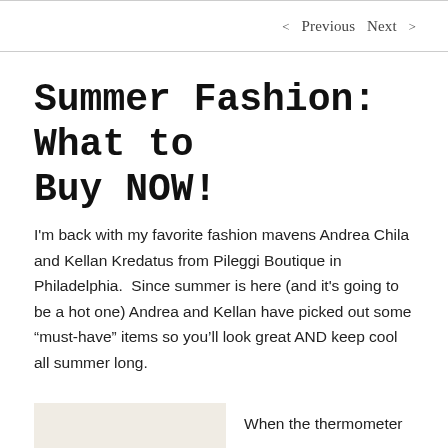< Previous   Next >
Summer Fashion: What to Buy NOW!
I'm back with my favorite fashion mavens Andrea Chila and Kellan Kredatus from Pileggi Boutique in Philadelphia.  Since summer is here (and it’s going to be a hot one) Andrea and Kellan have picked out some “must-have” items so you’ll look great AND keep cool all summer long.
[Figure (photo): Partial view of a fashion item on light background]
When the thermometer